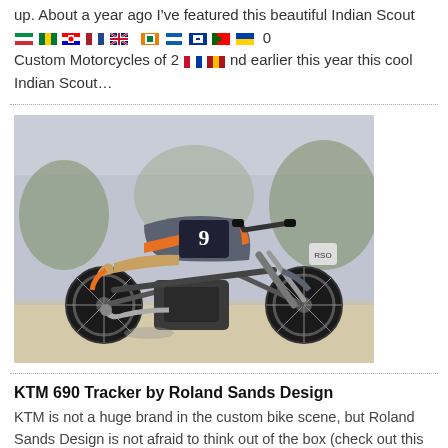up. About a year ago I've featured this beautiful Indian Scout [flags] 0 Custom Motorcycles of 2[flags]nd earlier this year this cool Indian Scout...
[Figure (photo): Photo of a custom KTM 690 Tracker motorcycle by Roland Sands Design, parked outdoors. The bike has a flat tracker style with orange and grey color scheme, number 9 on the tank, and wide handlebars.]
KTM 690 Tracker by Roland Sands Design
KTM is not a huge brand in the custom bike scene, but Roland Sands Design is not afraid to think out of the box (check out this great Indian Scout). So they took a KTM 690 and converted into a very cool street/dirt bike. Every single part has been worked on,...